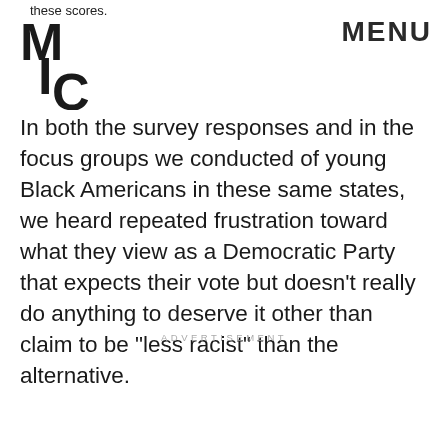these scores.
[Figure (logo): MIC logo — bold block letters M, I, C stacked vertically]
MENU
In both the survey responses and in the focus groups we conducted of young Black Americans in these same states, we heard repeated frustration toward what they view as a Democratic Party that expects their vote but doesn’t really do anything to deserve it other than claim to be “less racist” than the alternative.
ADVERTISEMENT